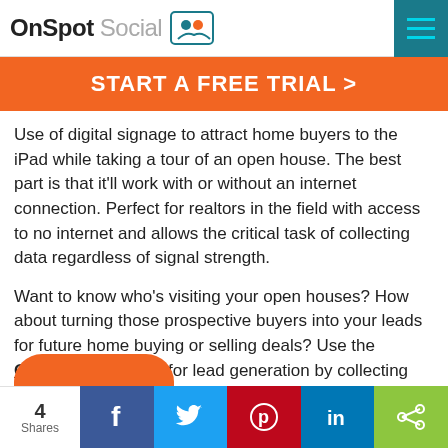OnSpot Social
START A FREE TRIAL >
Use of digital signage to attract home buyers to the iPad while taking a tour of an open house. The best part is that it'll work with or without an internet connection. Perfect for realtors in the field with access to no internet and allows the critical task of collecting data regardless of signal strength.
Want to know who's visiting your open houses? How about turning those prospective buyers into your leads for future home buying or selling deals? Use the OnSpot Social app for lead generation by collecting prospective home buyers email addresses and contact information.
4 Shares | Facebook | Twitter | Pinterest | LinkedIn | Share